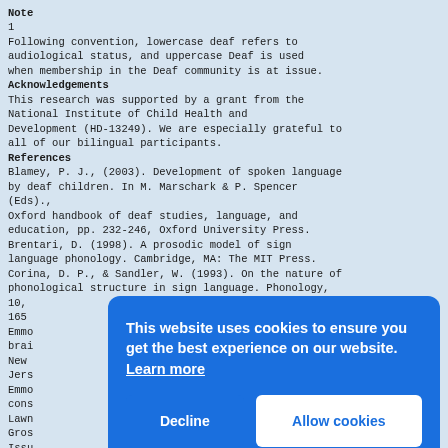Note
1
Following convention, lowercase deaf refers to audiological status, and uppercase Deaf is used when membership in the Deaf community is at issue.
Acknowledgements
This research was supported by a grant from the National Institute of Child Health and Development (HD-13249). We are especially grateful to all of our bilingual participants.
References
Blamey, P. J., (2003). Development of spoken language by deaf children. In M. Marschark & P. Spencer (Eds).,
Oxford handbook of deaf studies, language, and education, pp. 232-246, Oxford University Press.
Brentari, D. (1998). A prosodic model of sign language phonology. Cambridge, MA: The MIT Press.
Corina, D. P., & Sandler, W. (1993). On the nature of phonological structure in sign language. Phonology, 10,
165
Emmo
brai
New
Jers
Emmo
cons
Lawn
Gros
Issu
Kroll (Eds).,
Tutorials in bilingualism: Psycholinguistic...
[Figure (other): Cookie consent popup overlay with message 'This website uses cookies to ensure you get the best experience on our website. Learn more' and two buttons: 'Decline' and 'Allow cookies']